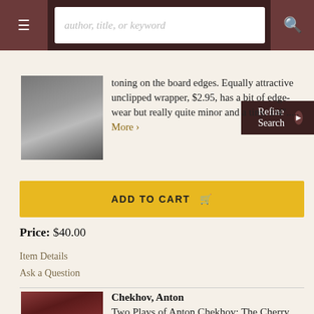author, title, or keyword | Refine Search
toning on the board edges. Equally attractive unclipped wrapper, $2.95, has a bit of edge-wear but really quite minor and a tiny, 1/4"..... More >
ADD TO CART
Price: $40.00
Item Details
Ask a Question
Chekhov, Anton
Two Plays of Anton Chekhov: The Cherry Orchard; Three Sisters